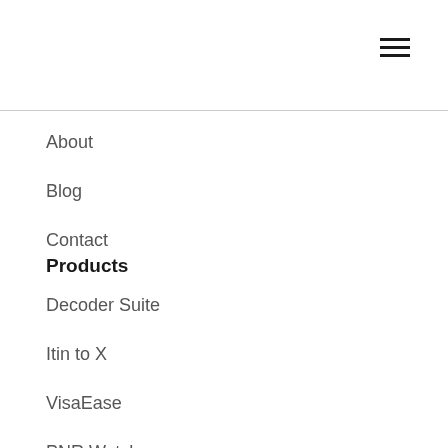[Figure (other): Hamburger menu icon — three horizontal black lines stacked vertically, positioned in top right corner]
About
Blog
Contact
Products
Decoder Suite
Itin to X
VisaEase
PNR Watcher